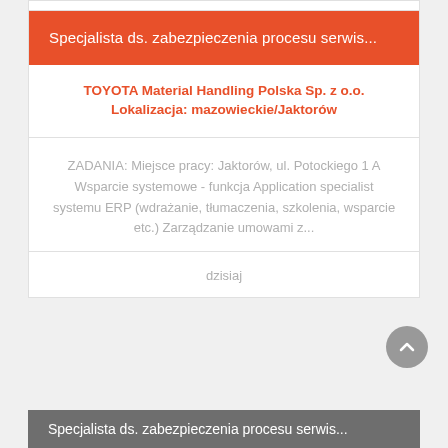Specjalista ds. zabezpieczenia procesu serwis...
TOYOTA Material Handling Polska Sp. z o.o.
Lokalizacja: mazowieckie/Jaktorów
ZADANIA: Miejsce pracy: Jaktorów, ul. Potockiego 1 A Wsparcie systemowe - funkcja Application specialist systemu ERP (wdrażanie, tłumaczenia, szkolenia, wsparcie etc.) Zarządzanie umowami z...
dzisiaj
Specjalista ds. zabezpieczenia procesu serwis...